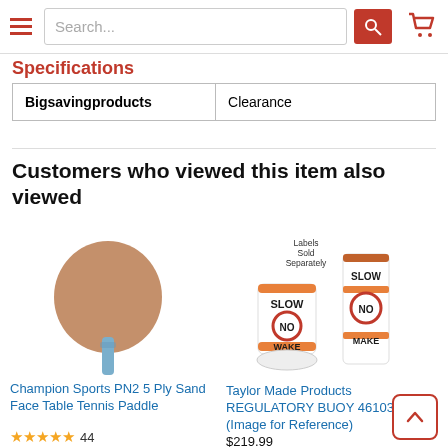Search... [search button] [cart icon]
Specifications
| Bigsavingproducts | Clearance |
| --- | --- |
Customers who viewed this item also viewed
[Figure (photo): Table tennis paddle with wooden blade and blue handle (Champion Sports PN2)]
Champion Sports PN2 5 Ply Sand Face Table Tennis Paddle
★★★★★ 44
[Figure (photo): Taylor Made Products regulatory buoy 46103 showing SLOW NO WAKE labels, image for reference]
Taylor Made Products REGULATORY BUOY 46103 (Image for Reference)
$219.99